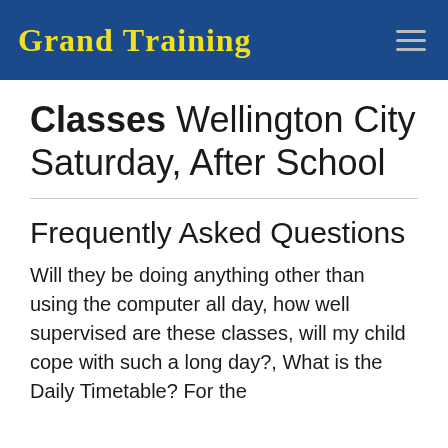Grand Training
Classes Wellington City Saturday, After School
Frequently Asked Questions
Will they be doing anything other than using the computer all day, how well supervised are these classes, will my child cope with such a long day?, What is the Daily Timetable? For these and more...